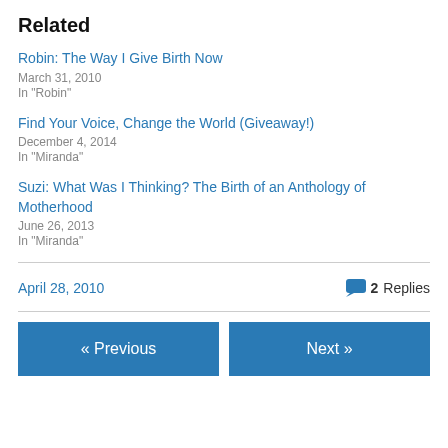Related
Robin: The Way I Give Birth Now
March 31, 2010
In "Robin"
Find Your Voice, Change the World (Giveaway!)
December 4, 2014
In "Miranda"
Suzi: What Was I Thinking? The Birth of an Anthology of Motherhood
June 26, 2013
In "Miranda"
April 28, 2010   2 Replies
« Previous   Next »